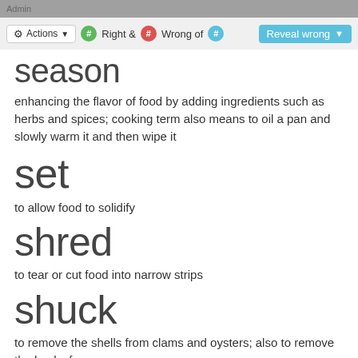Admin | Actions | Right & # Wrong of # | Reveal wrong
season
enhancing the flavor of food by adding ingredients such as herbs and spices; cooking term also means to oil a pan and slowly warm it and then wipe it
set
to allow food to solidify
shred
to tear or cut food into narrow strips
shuck
to remove the shells from clams and oysters; also to remove the husks from corn